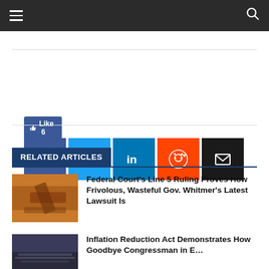Navigation bar with hamburger menu and search icon
[Figure (infographic): Social share buttons: Facebook Like (6), Facebook, Twitter, LinkedIn, Reddit, Email]
RELATED ARTICLES
[Figure (photo): Gavel on wooden surface, courtroom setting]
Federal Court's Line 5 Ruling Proves How Frivolous, Wasteful Gov. Whitmer's Latest Lawsuit Is
[Figure (photo): Crowd at a large event or legislative session]
Inflation Reduction Act Demonstrates How Goodbye Congressman in E…